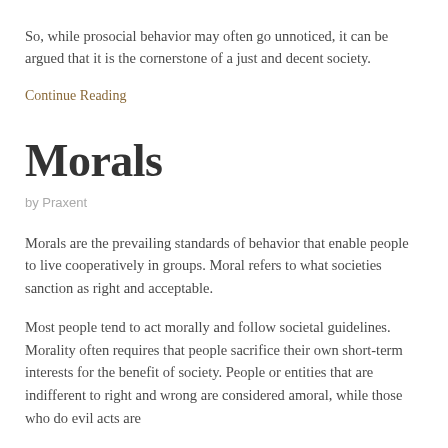So, while prosocial behavior may often go unnoticed, it can be argued that it is the cornerstone of a just and decent society.
Continue Reading
Morals
by Praxent
Morals are the prevailing standards of behavior that enable people to live cooperatively in groups. Moral refers to what societies sanction as right and acceptable.
Most people tend to act morally and follow societal guidelines. Morality often requires that people sacrifice their own short-term interests for the benefit of society. People or entities that are indifferent to right and wrong are considered amoral, while those who do evil acts are